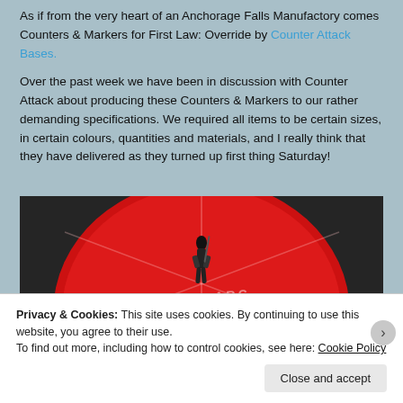As if from the very heart of an Anchorage Falls Manufactory comes Counters & Markers for First Law: Override by Counter Attack Bases.
Over the past week we have been in discussion with Counter Attack about producing these Counters & Markers to our rather demanding specifications. We required all items to be certain sizes, in certain colours, quantities and materials, and I really think that they have delivered as they turned up first thing Saturday!
[Figure (photo): A miniature game figure standing on a large red circular counter/marker with 'FRONT ARC' text and dividing lines, photographed on a dark textured surface.]
Privacy & Cookies: This site uses cookies. By continuing to use this website, you agree to their use. To find out more, including how to control cookies, see here: Cookie Policy
Close and accept